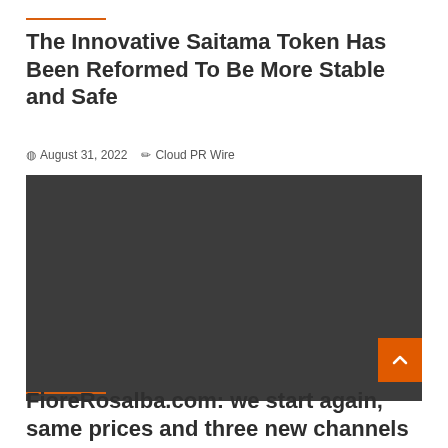The Innovative Saitama Token Has Been Reformed To Be More Stable and Safe
August 31, 2022  Cloud PR Wire
[Figure (photo): Dark gray placeholder image block]
FioreRosalba.com: we start again, same prices and three new channels